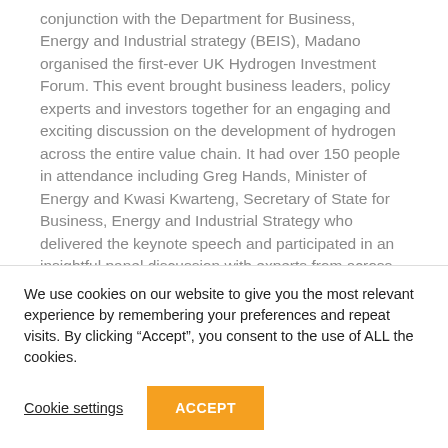conjunction with the Department for Business, Energy and Industrial strategy (BEIS), Madano organised the first-ever UK Hydrogen Investment Forum. This event brought business leaders, policy experts and investors together for an engaging and exciting discussion on the development of hydrogen across the entire value chain. It had over 150 people in attendance including Greg Hands, Minister of Energy and Kwasi Kwarteng, Secretary of State for Business, Energy and Industrial Strategy who delivered the keynote speech and participated in an insightful panel discussion with experts from across the hydrogen industry. The panel also included the
We use cookies on our website to give you the most relevant experience by remembering your preferences and repeat visits. By clicking “Accept”, you consent to the use of ALL the cookies.
Cookie settings
ACCEPT